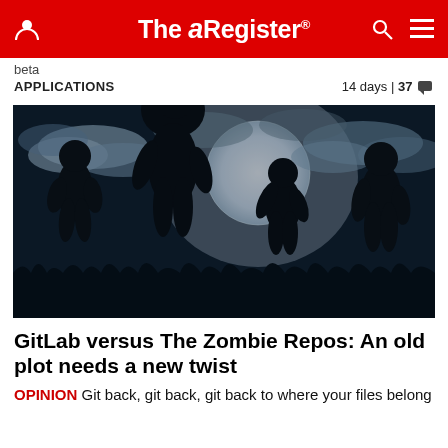The Register
beta
APPLICATIONS  14 days | 37
[Figure (photo): Silhouettes of zombie figures against a dramatic moonlit night sky with clouds]
GitLab versus The Zombie Repos: An old plot needs a new twist
OPINION Git back, git back, git back to where your files belong